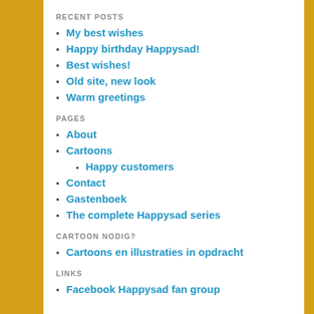RECENT POSTS
My best wishes
Happy birthday Happysad!
Best wishes!
Old site, new look
Warm greetings
PAGES
About
Cartoons
Happy customers
Contact
Gastenboek
The complete Happysad series
CARTOON NODIG?
Cartoons en illustraties in opdracht
LINKS
Facebook Happysad fan group